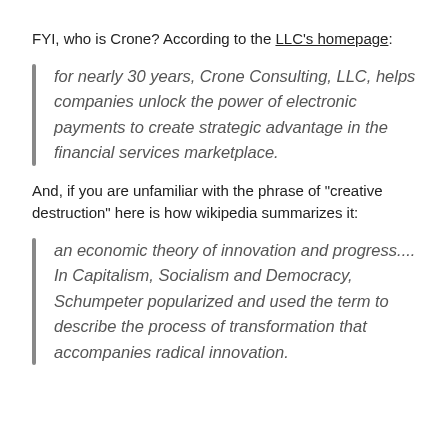FYI, who is Crone? According to the LLC's homepage:
for nearly 30 years, Crone Consulting, LLC, helps companies unlock the power of electronic payments to create strategic advantage in the financial services marketplace.
And, if you are unfamiliar with the phrase of "creative destruction" here is how wikipedia summarizes it:
an economic theory of innovation and progress.... In Capitalism, Socialism and Democracy, Schumpeter popularized and used the term to describe the process of transformation that accompanies radical innovation.